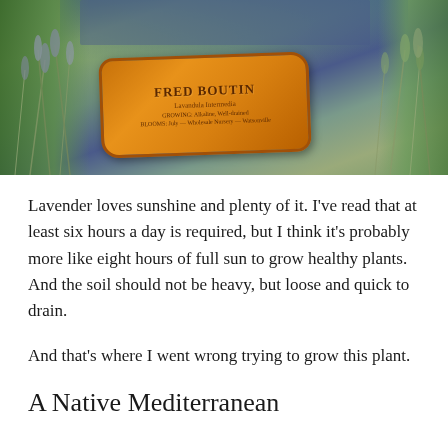[Figure (photo): A photo of lavender plants surrounding an orange wooden sign reading 'FRED BOUTIN Lavandula Intermedia' with additional text about growing information, set outdoors against a blue tarp background.]
Lavender loves sunshine and plenty of it. I've read that at least six hours a day is required, but I think it's probably more like eight hours of full sun to grow healthy plants. And the soil should not be heavy, but loose and quick to drain.
And that's where I went wrong trying to grow this plant.
A Native Mediterranean